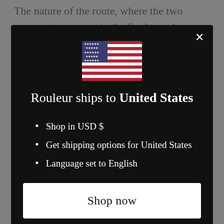The nature of the route, where the two queen stages occur in the final two days, does mean we may not be sure of the
[Figure (screenshot): Modal dialog on dark overlay background. Contains US flag, heading 'Rouleur ships to United States', bullet list with 'Shop in USD $', 'Get shipping options for United States', 'Language set to English', a 'Shop now' button, and a 'Change shipping country and language' link. Close (X) button top right.]
end of last season, Annemiek van Vleuten starts as the key women's Tour de France favourite. The three-time World